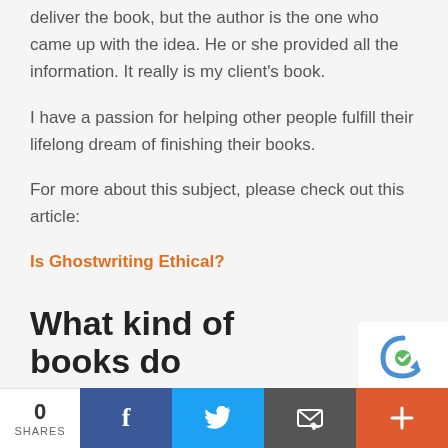deliver the book, but the author is the one who came up with the idea. He or she provided all the information. It really is my client's book.
I have a passion for helping other people fulfill their lifelong dream of finishing their books.
For more about this subject, please check out this article:
Is Ghostwriting Ethical?
What kind of books do
0 SHARES | Facebook | Twitter | Email | More